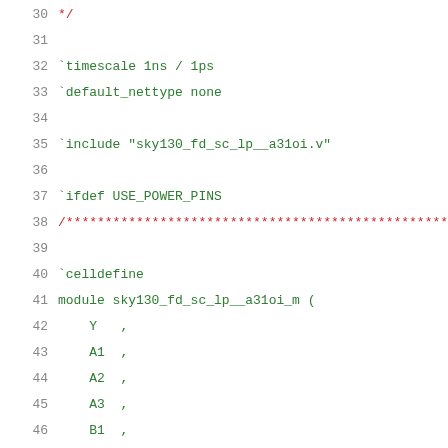30  */
31
32  `timescale 1ns / 1ps
33  `default_nettype none
34
35  `include "sky130_fd_sc_lp__a31oi.v"
36
37  `ifdef USE_POWER_PINS
38  /***********************************************
39
40  `celldefine
41  module sky130_fd_sc_lp__a31oi_m (
42      Y   ,
43      A1  ,
44      A2  ,
45      A3  ,
46      B1  ,
47      VPWR,
48      VGND,
49      VPB ,
50      VNB
51  );